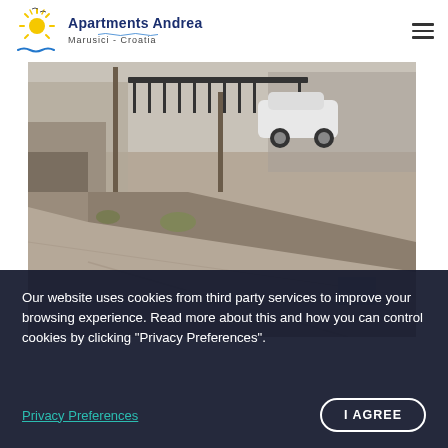[Figure (logo): Apartments Andrea logo with sun/seagulls illustration, text 'Apartments Andrea' and 'Marusici - Croatia']
[Figure (photo): Outdoor photo showing a narrow concrete road/driveway between stone walls, a parked white car, and buildings in a Mediterranean setting]
Our website uses cookies from third party services to improve your browsing experience. Read more about this and how you can control cookies by clicking "Privacy Preferences".
Privacy Preferences
I AGREE